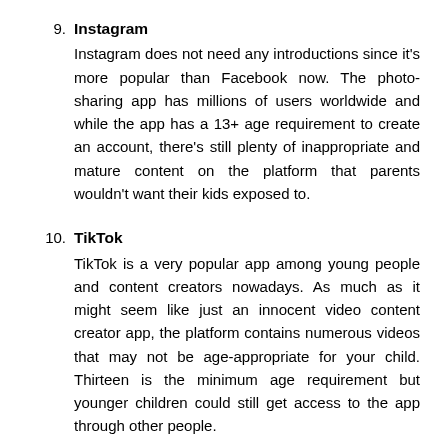9. Instagram
Instagram does not need any introductions since it's more popular than Facebook now. The photo-sharing app has millions of users worldwide and while the app has a 13+ age requirement to create an account, there's still plenty of inappropriate and mature content on the platform that parents wouldn't want their kids exposed to.
10. TikTok
TikTok is a very popular app among young people and content creators nowadays. As much as it might seem like just an innocent video content creator app, the platform contains numerous videos that may not be age-appropriate for your child. Thirteen is the minimum age requirement but younger children could still get access to the app through other people.